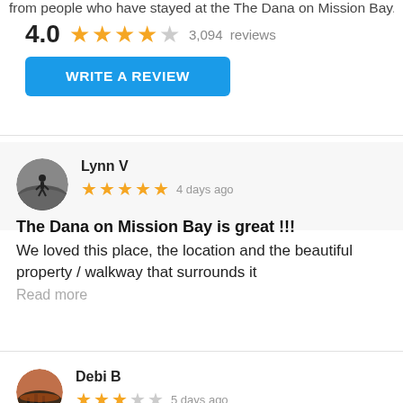from people who have stayed at the The Dana on Mission Bay.
4.0  3,094 reviews
WRITE A REVIEW
Lynn V
★★★★★ 4 days ago
The Dana on Mission Bay is great !!!
We loved this place, the location and the beautiful property / walkway that surrounds it
Read more
Debi B
★★★☆☆ 5 days ago